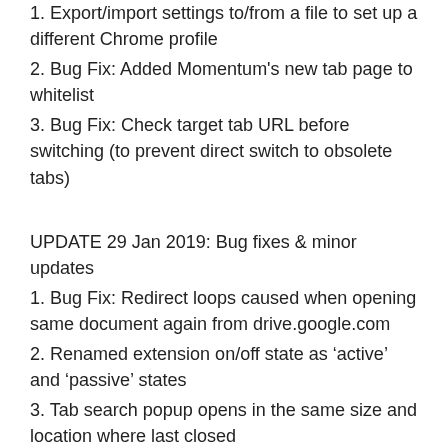1. Export/import settings to/from a file to set up a different Chrome profile
2. Bug Fix: Added Momentum's new tab page to whitelist
3. Bug Fix: Check target tab URL before switching (to prevent direct switch to obsolete tabs)
UPDATE 29 Jan 2019: Bug fixes & minor updates
1. Bug Fix: Redirect loops caused when opening same document again from drive.google.com
2. Renamed extension on/off state as ‘active’ and ‘passive’ states
3. Tab search popup opens in the same size and location where last closed
4. Option to open tab search in attached state (some features don't work in attached state)
UPDATE 22 Dec 2018: Dark theme (Supporters only)